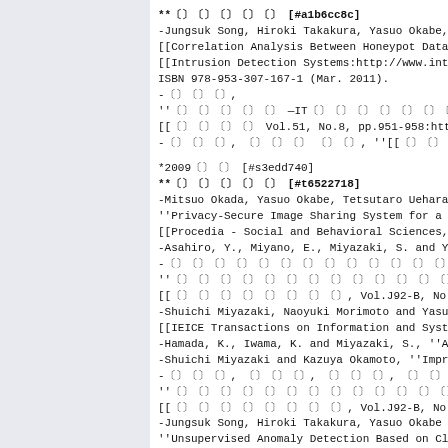**〔〕〔〕〔〕〔〕〔〕 [#a1b6cc8c]
-Jungsuk Song, Hiroki Takakura, Yasuo Okabe, Yongjin K
[[Correlation Analysis Between Honeypot Data and IDS A
[[Intrusion Detection Systems:http://www.intechopen.co
ISBN 978-953-307-167-1 (Mar. 2011).
-〔〕〔〕〔〕,
''〔〕〔〕〔〕〔〕〔〕 —IT〔〕〔〕〔〕〔〕〔〕〔〕〔〕— 4. 〔〕〔〕〔〕〔〕〔〕〔〕〔〕〔〕〔〕〔〕〔〕
[[〔〕〔〕〔〕〔〕 Vol.51, No.8, pp.951-958:http://fw8.bookpark.ne
-〔〕〔〕〔〕, 〔〕〔〕〔〕 〔〕〔〕, ''[[〔〕〔〕〔〕〔〕〔〕〔〕〔〕〔〕:http://www.gensu.co.jp/bo
*2009〔〕〔〕 [#s3edd740]
**〔〕〔〕〔〕〔〕〔〕 [#t6522718]
-Mitsuo Okada, Yasuo Okabe, Tetsutaro Uehara,
''Privacy-Secure Image Sharing System for a Purchaser
[[Procedia - Social and Behavioral Sciences, Vol.2, Is
-Asahiro, Y., Miyano, E., Miyazaki, S. and Yoshimuta,
-〔〕〔〕〔〕〔〕〔〕〔〕〔〕〔〕〔〕〔〕〔〕〔〕〔〕,
''〔〕〔〕〔〕〔〕〔〕〔〕〔〕〔〕〔〕〔〕〔〕〔〕〔〕〔〕〔〕〔〕〔〕〔〕〔〕'',
[[〔〕〔〕〔〕〔〕〔〕〔〕〔〕〔〕, Vol.J92-B, No.10〔〕〔〕〔〕〔〕〔〕〔〕〔〕〔〕〔〕〔〕〔〕〔〕
-Shuichi Miyazaki, Naoyuki Morimoto and Yasuo Okabe, '
[[IEICE Transactions on Information and Systems, Vol.E
-Hamada, K., Iwama, K. and Miyazaki, S., ''An Improved
-Shuichi Miyazaki and Kazuya Okamoto, ''Improving the
-〔〕〔〕〔〕, 〔〕〔〕〔〕, 〔〕〔〕〔〕, 〔〕〔〕〔〕, 〔〕〔〕〔〕, 〔〕〔〕〔〕,
''〔〕〔〕〔〕〔〕〔〕〔〕〔〕〔〕〔〕〔〕〔〕〔〕〔〕〔〕'',
[[〔〕〔〕〔〕〔〕〔〕〔〕〔〕〔〕, Vol.J92-B, No.7 〔〕〔〕〔〕〔〕〔〕〔〕〔〕〔〕〔〕〔〕,
-Jungsuk Song, Hiroki Takakura, Yasuo Okabe and Yongji
''Unsupervised Anomaly Detection Based on Clustering a